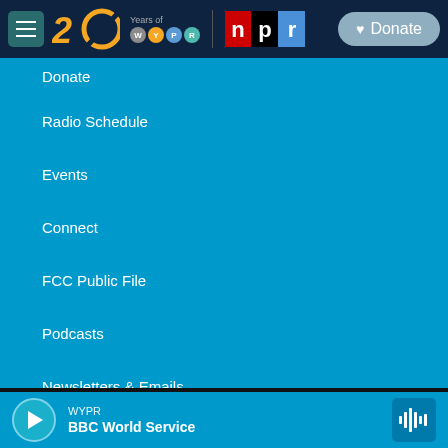[Figure (screenshot): WYPR public radio website navigation bar with hamburger menu, WYPR 20 Years logo, NPR logo, and Donate button on dark navy background]
Donate
Radio Schedule
Events
Connect
FCC Public File
Podcasts
Newsletters & Emails
WYPR BBC World Service